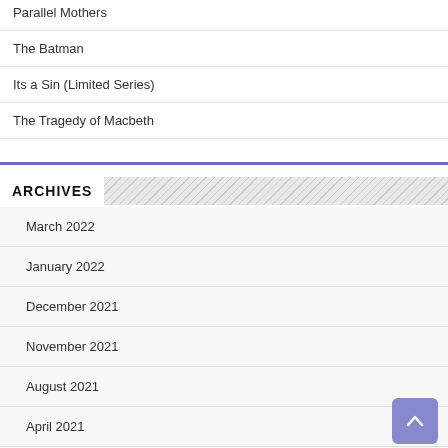Parallel Mothers
The Batman
Its a Sin (Limited Series)
The Tragedy of Macbeth
ARCHIVES
March 2022
January 2022
December 2021
November 2021
August 2021
April 2021
March 2021
February 2021